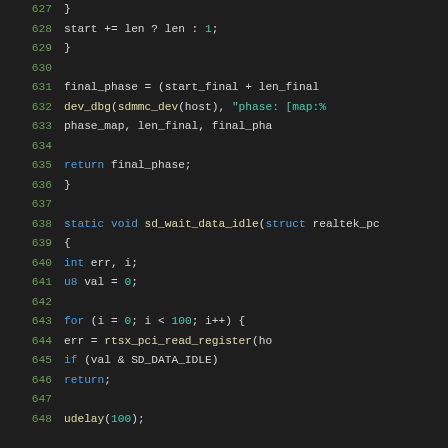[Figure (screenshot): Source code listing showing C kernel driver code, lines 627-648, with syntax highlighting on dark background. Shows function body with final_phase calculation, dev_dbg call, return statement, closing brace, and sd_wait_data_idle function definition with for loop.]